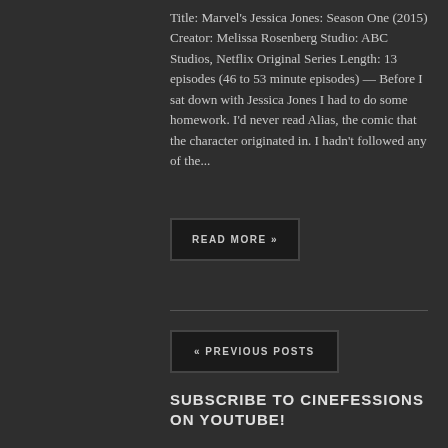Title: Marvel's Jessica Jones: Season One (2015) Creator: Melissa Rosenberg Studio: ABC Studios, Netflix Original Series Length: 13 episodes (46 to 53 minute episodes) — Before I sat down with Jessica Jones I had to do some homework. I'd never read Alias, the comic that the character originated in. I hadn't followed any of the...
READ MORE »
« PREVIOUS POSTS
SUBSCRIBE TO CINEFESSIONS ON YOUTUBE!
The majority of the content of Cinefessions is now video based, so be sure to subscribe to channel on YouTube, and click that bell notification to be alerted to new videos...